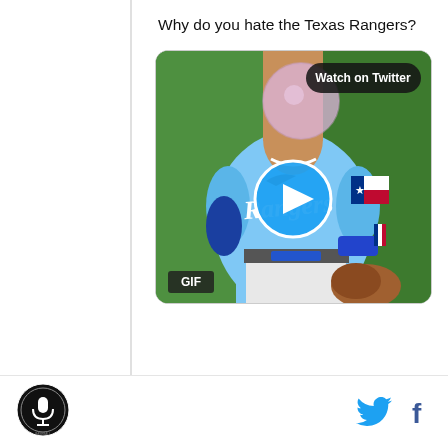Why do you hate the Texas Rangers?
[Figure (screenshot): Embedded Twitter/X media showing a Texas Rangers baseball player in a light blue Rangers jersey blowing a bubble gum bubble, with a GIF badge in the bottom-left corner, a 'Watch on Twitter' badge in the top-right corner, and a circular blue play button in the center.]
[Figure (logo): Circular podcast logo in bottom-left area]
[Figure (other): Twitter bird icon and Facebook 'f' icon social sharing buttons in bottom-right area]